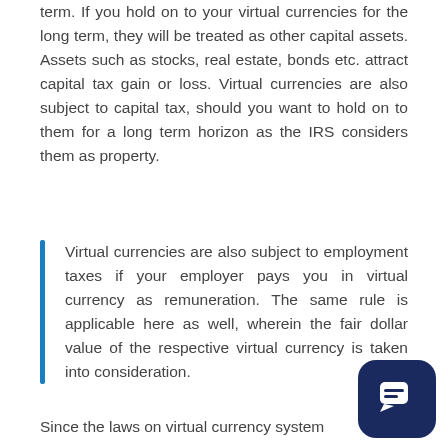term. If you hold on to your virtual currencies for the long term, they will be treated as other capital assets. Assets such as stocks, real estate, bonds etc. attract capital tax gain or loss. Virtual currencies are also subject to capital tax, should you want to hold on to them for a long term horizon as the IRS considers them as property.
Virtual currencies are also subject to employment taxes if your employer pays you in virtual currency as remuneration. The same rule is applicable here as well, wherein the fair dollar value of the respective virtual currency is taken into consideration.
Since the laws on virtual currency system